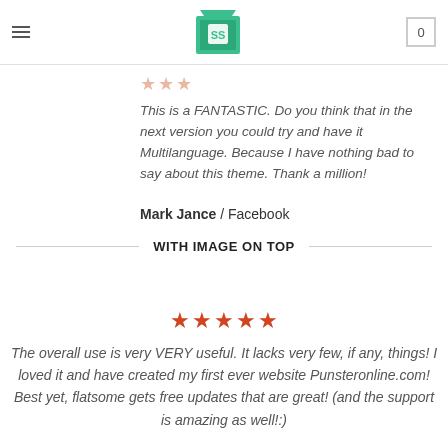≡  [logo]  0
This is a FANTASTIC. Do you think that in the next version you could try and have it Multilanguage. Because I have nothing bad to say about this theme. Thank a million!
Mark Jance / Facebook
WITH IMAGE ON TOP
The overall use is very VERY useful. It lacks very few, if any, things! I loved it and have created my first ever website Punsteronline.com! Best yet, flatsome gets free updates that are great! (and the support is amazing as well!:)
Mark Jance / Facebook